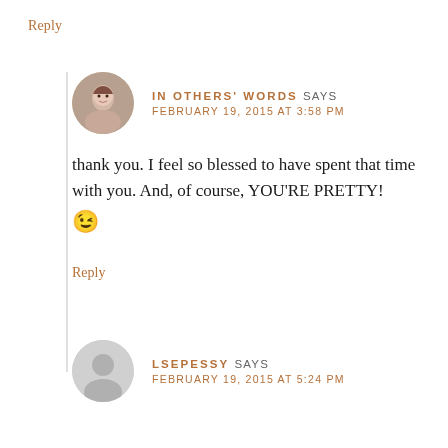Reply
IN OTHERS' WORDS SAYS
FEBRUARY 19, 2015 AT 3:58 PM
thank you. I feel so blessed to have spent that time with you. And, of course, YOU'RE PRETTY! 😉
Reply
LSEPESSY SAYS
FEBRUARY 19, 2015 AT 5:24 PM